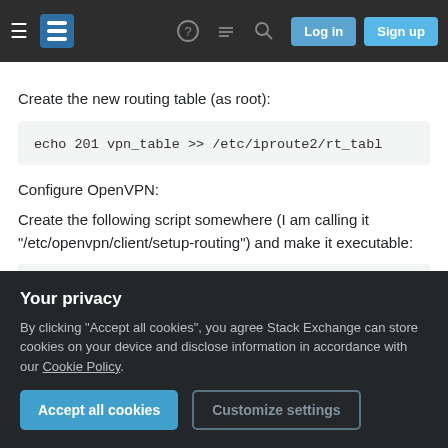Stack Exchange navigation bar with Log in and Sign up buttons
Create the new routing table (as root):
echo 201 vpn_table >> /etc/iproute2/rt_tabl
Configure OpenVPN:
Create the following script somewhere (I am calling it "/etc/openvpn/client/setup-routing") and make it executable:
#!/bin/bash
Your privacy
By clicking "Accept all cookies", you agree Stack Exchange can store cookies on your device and disclose information in accordance with our Cookie Policy.
Accept all cookies  Customize settings